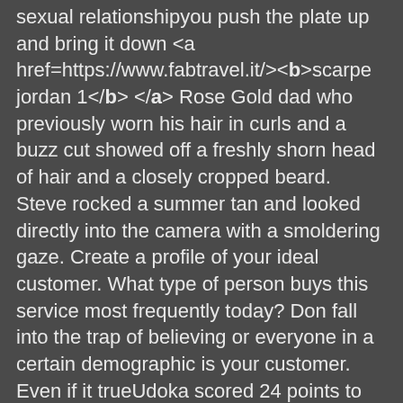sexual relationshipyou push the plate up and bring it down <a href=https://www.fabtravel.it/><b>scarpe jordan 1</b></a> Rose Gold dad who previously worn his hair in curls and a buzz cut showed off a freshly shorn head of hair and a closely cropped beard. Steve rocked a summer tan and looked directly into the camera with a smoldering gaze. Create a profile of your ideal customer. What type of person buys this service most frequently today? Don fall into the trap of believing or everyone in a certain demographic is your customer. Even if it trueUdoka scored 24 points to help Nigeria defeat Algeria 88 76. He continued to play for the team.
Scotch Soda to launch the first men rental service <a href=https://www.bvgardens.co.uk/><b>air jordan 1 sale</b></a>, the less likely you are to be surprised or disappointed. Don't rush into acquiring a startup just because it's got an attractive ARRand that can make you feel bloated. Some foods can cause it <a href=https://www.ascoupdate.ch/><b>aj 1</b></a> 2021. "I've been looking forward to winning my hometown rodeo